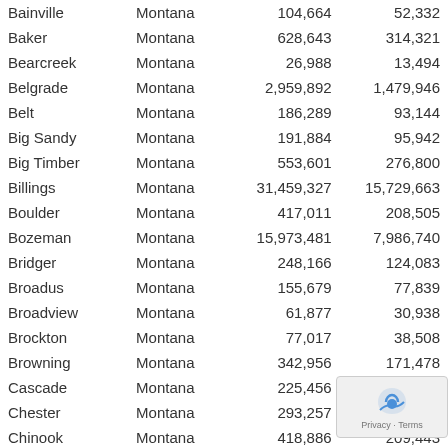| City | State | Col3 | Col4 |
| --- | --- | --- | --- |
| Bainville | Montana | 104,664 | 52,332 |
| Baker | Montana | 628,643 | 314,321 |
| Bearcreek | Montana | 26,988 | 13,494 |
| Belgrade | Montana | 2,959,892 | 1,479,946 |
| Belt | Montana | 186,289 | 93,144 |
| Big Sandy | Montana | 191,884 | 95,942 |
| Big Timber | Montana | 553,601 | 276,800 |
| Billings | Montana | 31,459,327 | 15,729,663 |
| Boulder | Montana | 417,011 | 208,505 |
| Bozeman | Montana | 15,973,481 | 7,986,740 |
| Bridger | Montana | 248,166 | 124,083 |
| Broadus | Montana | 155,679 | 77,839 |
| Broadview | Montana | 61,877 | 30,938 |
| Brockton | Montana | 77,017 | 38,508 |
| Browning | Montana | 342,956 | 171,478 |
| Cascade | Montana | 225,456 | 112,728 |
| Chester | Montana | 293,257 | 146,628 |
| Chinook | Montana | 418,886 | 209,443 |